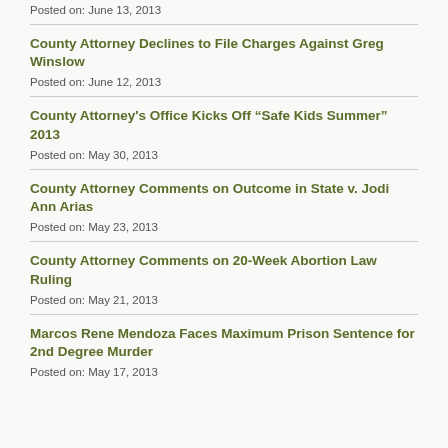Posted on: June 13, 2013
County Attorney Declines to File Charges Against Greg Winslow
Posted on: June 12, 2013
County Attorney's Office Kicks Off “Safe Kids Summer” 2013
Posted on: May 30, 2013
County Attorney Comments on Outcome in State v. Jodi Ann Arias
Posted on: May 23, 2013
County Attorney Comments on 20-Week Abortion Law Ruling
Posted on: May 21, 2013
Marcos Rene Mendoza Faces Maximum Prison Sentence for 2nd Degree Murder
Posted on: May 17, 2013